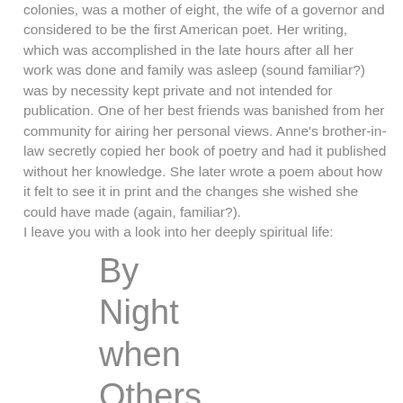colonies, was a mother of eight, the wife of a governor and considered to be the first American poet. Her writing, which was accomplished in the late hours after all her work was done and family was asleep (sound familiar?) was by necessity kept private and not intended for publication. One of her best friends was banished from her community for airing her personal views. Anne's brother-in-law secretly copied her book of poetry and had it published without her knowledge. She later wrote a poem about how it felt to see it in print and the changes she wished she could have made (again, familiar?).
I leave you with a look into her deeply spiritual life:
By
Night
when
Others
Soundly